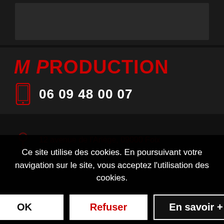[Figure (screenshot): Dark background top image area with a dark rectangle]
M Production
06 09 48 00 07
12 avenue de l'Ariège, 09000 Foix
Ce site utilise des cookies. En poursuivant votre navigation sur le site, vous acceptez l'utilisation des cookies.
OK | Refuser | En savoir +